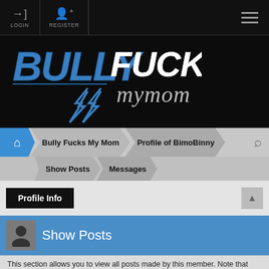LOGIN | REGISTER
[Figure (logo): Bully Fucks My Mom website logo with bold stylized text in blue and white on black background with lightning bolt graphic]
🏠 > Bully Fucks My Mom > Profile of BimoBinny | Show Posts > Messages
Profile Info
Show Posts
This section allows you to view all posts made by this member. Note that you